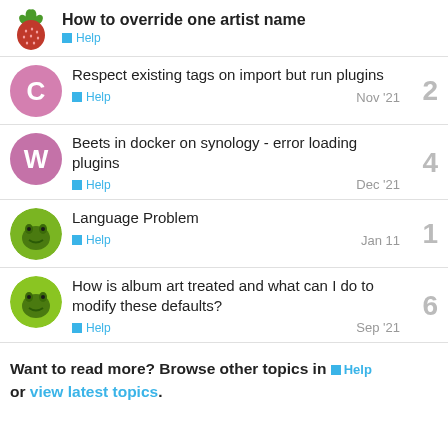How to override one artist name — Help
Respect existing tags on import but run plugins — Help — Nov '21 — 2 replies
Beets in docker on synology - error loading plugins — Help — Dec '21 — 4 replies
Language Problem — Help — Jan 11 — 1 reply
How is album art treated and what can I do to modify these defaults? — Help — Sep '21 — 6 replies
Want to read more? Browse other topics in Help or view latest topics.